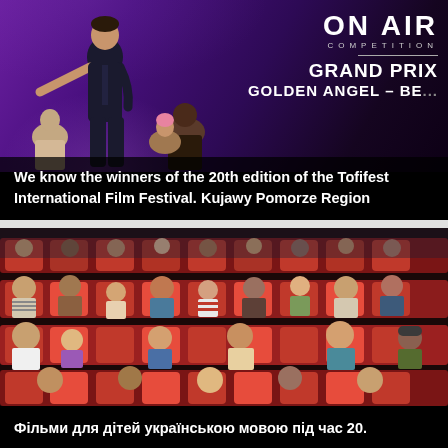[Figure (photo): A man on stage at the Tofifest International Film Festival, with text overlay showing 'ON AIR COMPETITION GRAND PRIX GOLDEN ANGEL – BEST...' on a purple background. Other people visible in background.]
We know the winners of the 20th edition of the Tofifest International Film Festival. Kujawy Pomorze Region
[Figure (photo): Audience of children and adults sitting in red cinema seats, watching a film. The cinema hall is dark with red seats visible throughout.]
Фільми для дітей українською мовою під час 20.